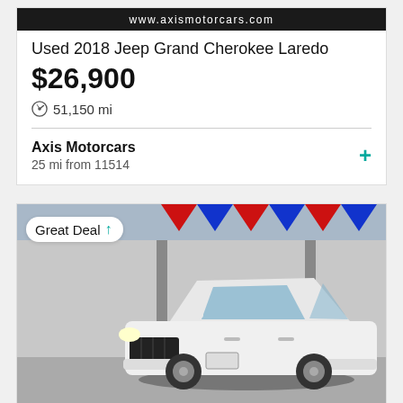www.axismotorcars.com
Used 2018 Jeep Grand Cherokee Laredo
$26,900
51,150 mi
Axis Motorcars
25 mi from 11514
[Figure (photo): White 2018 Jeep Grand Cherokee Laredo parked at a car dealership with patriotic bunting decorations in the background. A 'Great Deal' badge is overlaid in the top-left corner.]